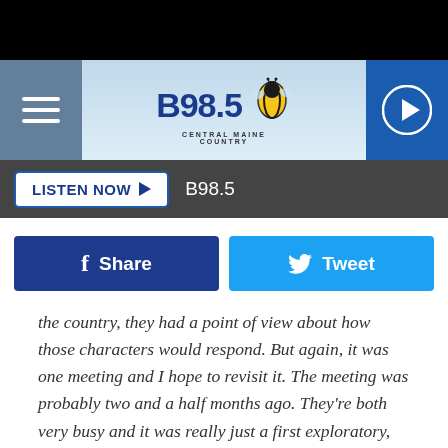[Figure (screenshot): B98.5 Central Maine Country radio station mobile app header with logo, hamburger menu, and play button]
LISTEN NOW ▶  B98.5
[Figure (infographic): Social sharing buttons: Facebook Share and Twitter Tweet]
the country, they had a point of view about how those characters would respond. But again, it was one meeting and I hope to revisit it. The meeting was probably two and a half months ago. They're both very busy and it was really just a first exploratory, 'Are you excited about this? Is there potential in that future?' And they were both excited about it but they're working on a lot of different things individually, so it's about finding time